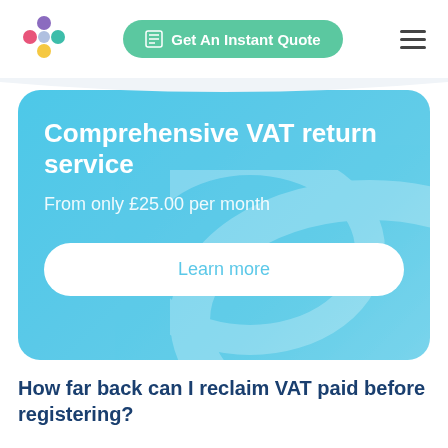[Figure (logo): Colorful multi-dot logo icon]
Get An Instant Quote
[Figure (other): Hamburger menu icon (three horizontal lines)]
Comprehensive VAT return service
From only £25.00 per month
Learn more
How far back can I reclaim VAT paid before registering?